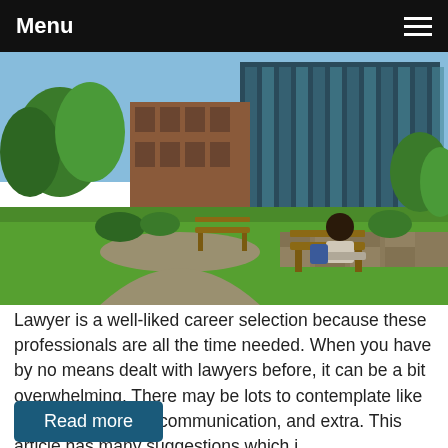Menu
[Figure (photo): Outdoor campus scene with modern glass building, green lawn, stone wall, and a student sitting on a wooden bench in the foreground]
Lawyer is a well-liked career selection because these professionals are all the time needed. When you have by no means dealt with lawyers before, it can be a bit overwhelming. There may be lots to contemplate like charge structures, communication, and extra. This article has many suggestions which i...
Read more